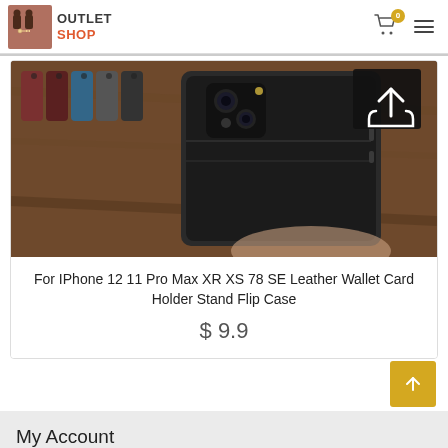OUTLET SHOP
[Figure (photo): Product photo of a leather wallet card holder flip case for iPhone, showing multiple color variants in background and a dark grey/black case in foreground on a wooden surface. A share button overlay is in the top-right corner.]
For IPhone 12 11 Pro Max XR XS 78 SE Leather Wallet Card Holder Stand Flip Case
$ 9.9
My Account